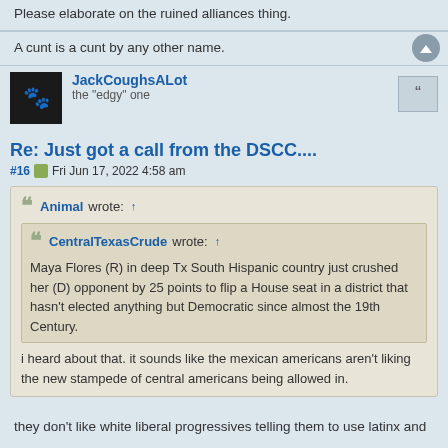Please elaborate on the ruined alliances thing.
A cunt is a cunt by any other name.
JackCoughsALot
the "edgy" one
Re: Just got a call from the DSCC....
#16  Fri Jun 17, 2022 4:58 am
Animal wrote: ↑
CentralTexasCrude wrote: ↑
Maya Flores (R) in deep Tx South Hispanic country just crushed her (D) opponent by 25 points to flip a House seat in a district that hasn't elected anything but Democratic since almost the 19th Century.
i heard about that. it sounds like the mexican americans aren't liking the new stampede of central americans being allowed in.
they don't like white liberal progressives telling them to use latinx and